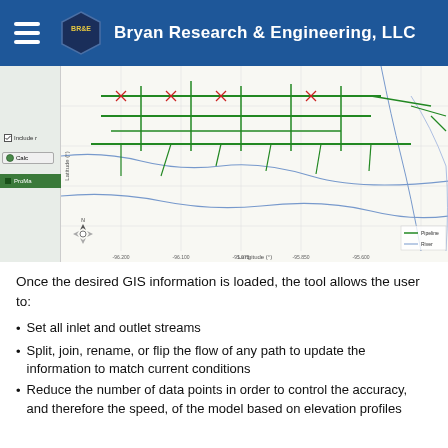Bryan Research & Engineering, LLC
[Figure (map): GIS pipeline network map showing gas pipeline paths across a geographic region, with green pipeline segments overlaid on a white grid map with blue boundary lines. Left sidebar shows UI controls including a checkbox, Calculate button, and ProMaps label.]
Once the desired GIS information is loaded, the tool allows the user to:
Set all inlet and outlet streams
Split, join, rename, or flip the flow of any path to update the information to match current conditions
Reduce the number of data points in order to control the accuracy, and therefore the speed, of the model based on elevation profiles